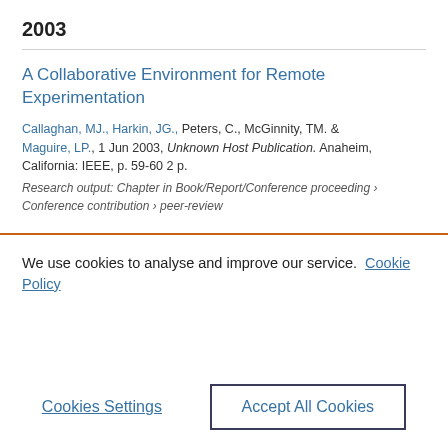2003
A Collaborative Environment for Remote Experimentation
Callaghan, MJ., Harkin, JG., Peters, C., McGinnity, TM. & Maguire, LP., 1 Jun 2003, Unknown Host Publication. Anaheim, California: IEEE, p. 59-60 2 p.
Research output: Chapter in Book/Report/Conference proceeding › Conference contribution › peer-review
We use cookies to analyse and improve our service. Cookie Policy
Cookies Settings
Accept All Cookies